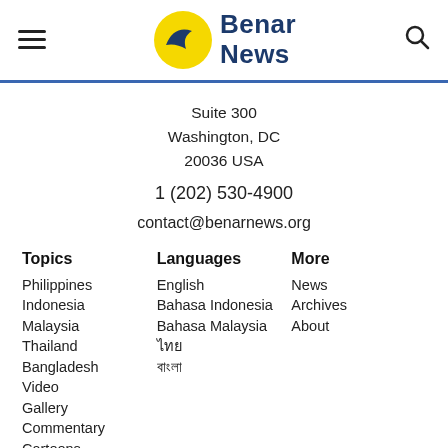Benar News
Suite 300
Washington, DC
20036 USA
1 (202) 530-4900
contact@benarnews.org
Topics
Philippines
Indonesia
Malaysia
Thailand
Bangladesh
Video
Gallery
Commentary
Cartoons
Languages
English
Bahasa Indonesia
Bahasa Malaysia
ไทย
বাংলা
More
News
Archives
About